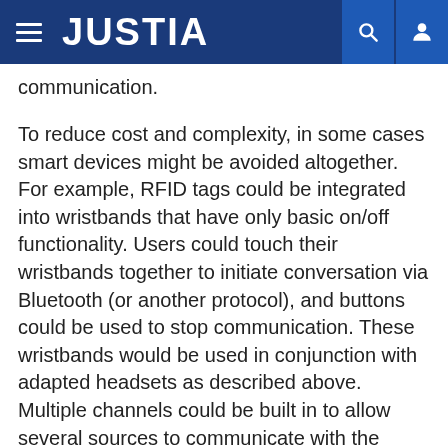JUSTIA
communication.
To reduce cost and complexity, in some cases smart devices might be avoided altogether. For example, RFID tags could be integrated into wristbands that have only basic on/off functionality. Users could touch their wristbands together to initiate conversation via Bluetooth (or another protocol), and buttons could be used to stop communication. These wristbands would be used in conjunction with adapted headsets as described above. Multiple channels could be built in to allow several sources to communicate with the wristband simultaneously. For example, 6 buttons might enable two channels preprogrammed by the bar and conversation ability with 4 friends simultaneously. As long as one channel is available, bumping wristbands would initiate a conversation on the next available channel. Time division multiplexing could be used to